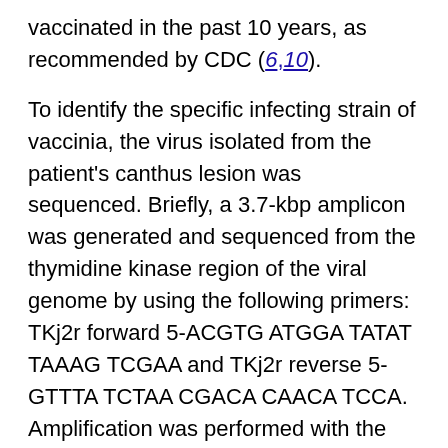vaccinated in the past 10 years, as recommended by CDC (6,10).
To identify the specific infecting strain of vaccinia, the virus isolated from the patient's canthus lesion was sequenced. Briefly, a 3.7-kbp amplicon was generated and sequenced from the thymidine kinase region of the viral genome by using the following primers: TKj2r forward 5-ACGTG ATGGA TATAT TAAAG TCGAA and TKj2r reverse 5-GTTTA TCTAA CGACA CAACA TCCA. Amplification was performed with the Expand Long Template PCR kit (Roche Molecular Biologicals, Indianapolis, IN, USA) and a Cetus Model 9700 thermocycler (Perkin-Elmer Life and Analytical Sciences, Boston, MA, USA) at 92°C × 2 min, followed by 30 cycles of 92°C × 10 s, 55°C × 30 s, and 68°C × 3 min. Purified, amplified DNA was sequenced with a CEQ 8000 Genetic Analysis System (Beckman Coulter, Fullerton, CA, USA). S